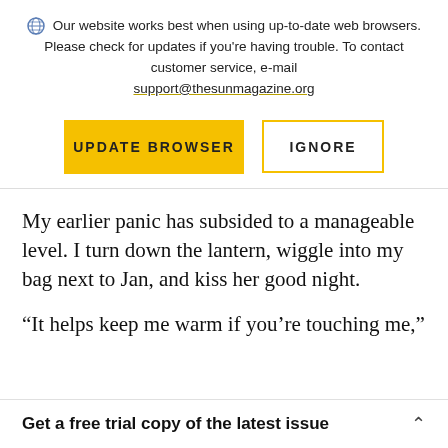Our website works best when using up-to-date web browsers. Please check for updates if you're having trouble. To contact customer service, e-mail support@thesunmagazine.org
[Figure (screenshot): Two buttons: a gold filled 'UPDATE BROWSER' button and a gold-outlined 'IGNORE' button]
My earlier panic has subsided to a manageable level. I turn down the lantern, wiggle into my bag next to Jan, and kiss her good night.
“It helps keep me warm if you’re touching me,”
Get a free trial copy of the latest issue